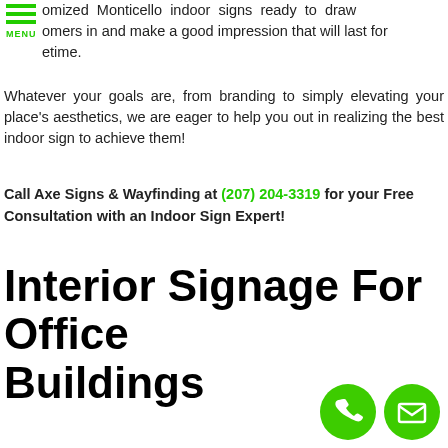MENU
omized Monticello indoor signs ready to draw omers in and make a good impression that will last for etime. Whatever your goals are, from branding to simply elevating your place's aesthetics, we are eager to help you out in realizing the best indoor sign to achieve them!
Call Axe Signs & Wayfinding at (207) 204-3319 for your Free Consultation with an Indoor Sign Expert!
Interior Signage For Office Buildings
[Figure (illustration): Green circle buttons with phone and email icons at bottom right]